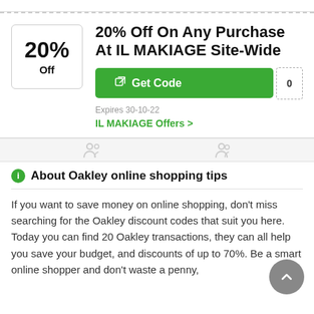20% Off On Any Purchase At IL MAKIAGE Site-Wide
[Figure (infographic): Coupon badge showing 20% Off in a bordered box]
Get Code
Expires 30-10-22
IL MAKIAGE Offers >
About Oakley online shopping tips
If you want to save money on online shopping, don't miss searching for the Oakley discount codes that suit you here. Today you can find 20 Oakley transactions, they can all help you save your budget, and discounts of up to 70%. Be a smart online shopper and don't waste a penny,